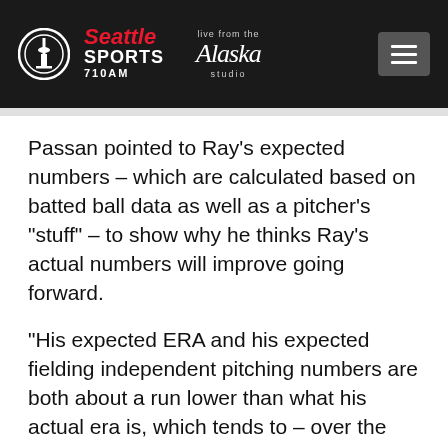[Figure (logo): Seattle Sports 710AM logo with Alaska Airlines 'Live from the studio' branding and hamburger menu button on dark background header]
Passan pointed to Ray’s expected numbers – which are calculated based on batted ball data as well as a pitcher’s “stuff” – to show why he thinks Ray’s actual numbers will improve going forward.
“His expected ERA and his expected fielding independent pitching numbers are both about a run lower than what his actual era is, which tends to – over the course of time – even itself out, and it’s a positive regression that Passan he anticipated” Passan said.